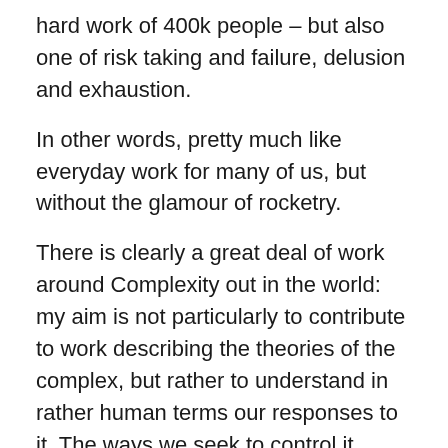hard work of 400k people – but also one of risk taking and failure, delusion and exhaustion.
In other words, pretty much like everyday work for many of us, but without the glamour of rocketry.
There is clearly a great deal of work around Complexity out in the world: my aim is not particularly to contribute to work describing the theories of the complex, but rather to understand in rather human terms our responses to it. The ways we seek to control it, dilute it, ignore it, and power through it. And the ways that it often flows around our efforts to do so.
So: a rather human exploration of the ecosystem – how we fail, the landscape of complexity, and the hollow nature of control.